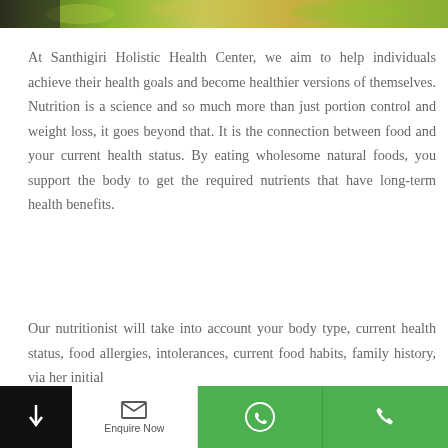[Figure (photo): Top strip showing food/salad photo in green and yellow tones]
At Santhigiri Holistic Health Center, we aim to help individuals achieve their health goals and become healthier versions of themselves. Nutrition is a science and so much more than just portion control and weight loss, it goes beyond that. It is the connection between food and your current health status. By eating wholesome natural foods, you support the body to get the required nutrients that have long-term health benefits.
Our nutritionist will take into account your body type, current health status, food allergies, intolerances, current food habits, family history, via her initial
Enquire Now  [WhatsApp icon]  [Phone icon]